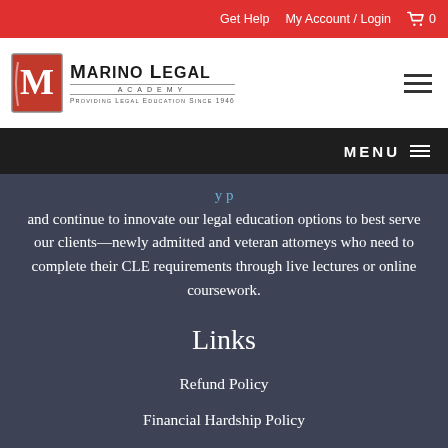Get Help  My Account / Login  0
[Figure (logo): Marino Legal Academy logo with red M badge and text 'Providing Legal Education Since 1946']
MENU
and continue to innovate our legal education options to best serve our clients—newly admitted and veteran attorneys who need to complete their CLE requirements through live lectures or online coursework.
Links
Refund Policy
Financial Hardship Policy
Terms & Conditions